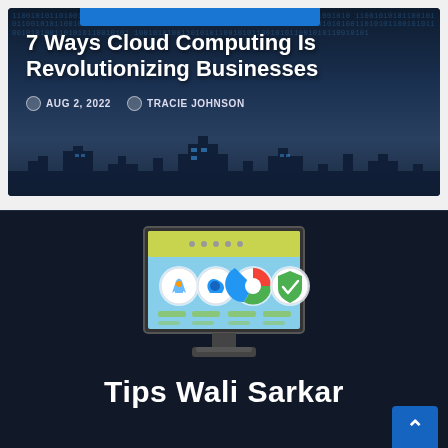[Figure (screenshot): Blog post card with dark blue city skyline and binary code background. Shows article title '7 Ways Cloud Computing Is Revolutionizing Businesses' with date AUG 2, 2022 and author TRACIE JOHNSON.]
7 Ways Cloud Computing Is Revolutionizing Businesses
AUG 2, 2022   TRACIE JOHNSON
[Figure (illustration): Illustration of a computer monitor with a web browser/dashboard interface showing colorful app icons on a light blue background.]
Tips Wali Sarkar